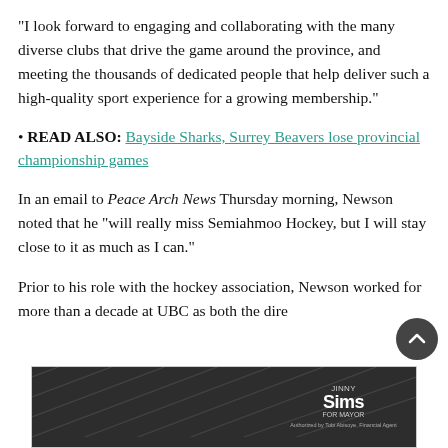“I look forward to engaging and collaborating with the many diverse clubs that drive the game around the province, and meeting the thousands of dedicated people that help deliver such a high-quality sport experience for a growing membership.”
• READ ALSO: Bayside Sharks, Surrey Beavers lose provincial championship games
In an email to Peace Arch News Thursday morning, Newson noted that he “will really miss Semiahmoo Hockey, but I will stay close to it as much as I can.”
Prior to his role with the hockey association, Newson worked for more than a decade at UBC as both the director
[Figure (other): Surrey Forward / Jinny Sims for Mayor political advertisement banner. Features Surrey Forward logo on left, purple diagonal banner in center reading 'Surrey Deserves BETTER', and Jinny Sims for Mayor branding on right with 'Authorized by Tobi Abisoye, Financial Agent' text.]